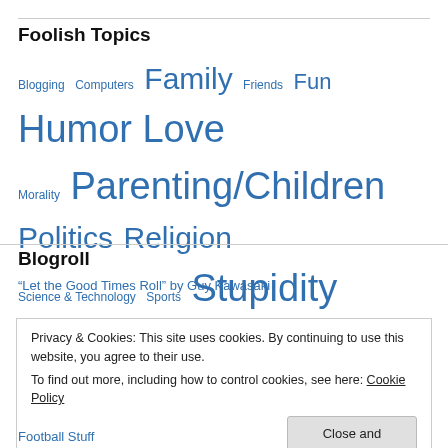Foolish Topics
Blogging  Computers  Family  Friends  Fun  Humor  Love  Morality  Parenting/Children  Politics  Religion  Science & Technology  Sports  Stupidity  Technology
Blogroll
“Let the Good Times Roll” by Guy Kawasaki
Privacy & Cookies: This site uses cookies. By continuing to use this website, you agree to their use.
To find out more, including how to control cookies, see here: Cookie Policy
Close and accept
Football Stuff